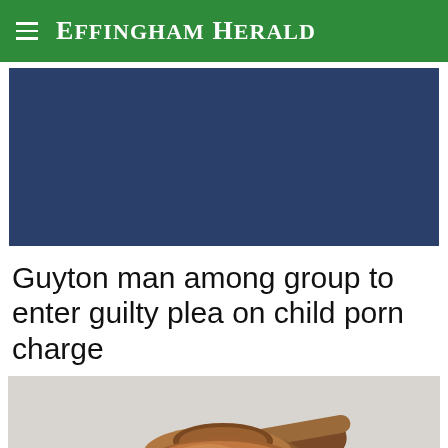Effingham Herald
[Figure (other): Dark blue rectangular advertisement/image placeholder block]
Guyton man among group to enter guilty plea on child porn charge
[Figure (photo): Close-up photo of a wooden judge's gavel on a light background]